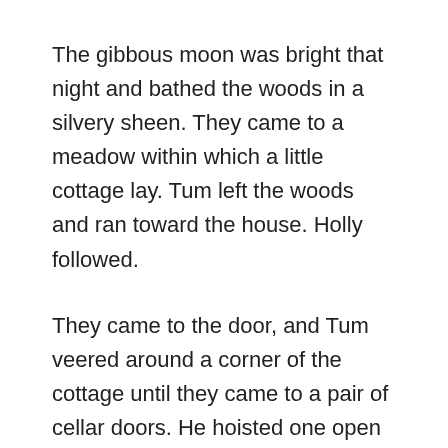The gibbous moon was bright that night and bathed the woods in a silvery sheen. They came to a meadow within which a little cottage lay. Tum left the woods and ran toward the house. Holly followed.
They came to the door, and Tum veered around a corner of the cottage until they came to a pair of cellar doors. He hoisted one open and descended down a set of darkened stairs.